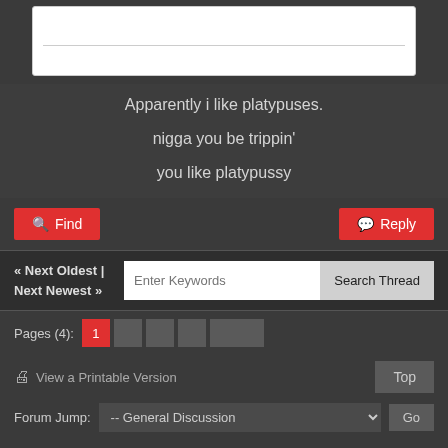[Figure (screenshot): White input/text box with a horizontal divider line inside]
Apparently i like platypuses.

nigga you be trippin'

you like platypussy
Find
Reply
« Next Oldest | Next Newest »
Enter Keywords
Search Thread
Pages (4):  1
View a Printable Version
Top
Forum Jump:  -- General Discussion
Go